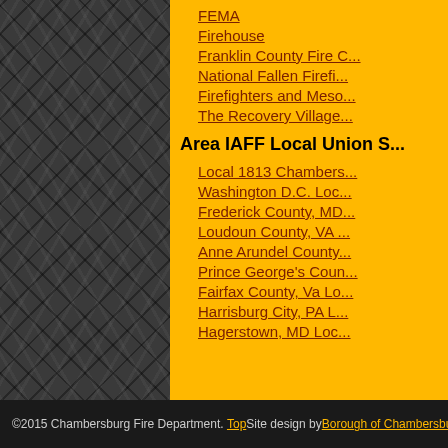FEMA
Firehouse
Franklin County Fire ...
National Fallen Firefi...
Firefighters and Meso...
The Recovery Village...
Area IAFF Local Union S...
Local 1813 Chambers...
Washington D.C. Loc...
Frederick County, MD...
Loudoun County, VA ...
Anne Arundel County...
Prince George's Coun...
Fairfax County, Va Lo...
Harrisburg City, PA L...
Hagerstown, MD Loc...
©2015 Chambersburg Fire Department. Top    Site design by Borough of Chambersburg